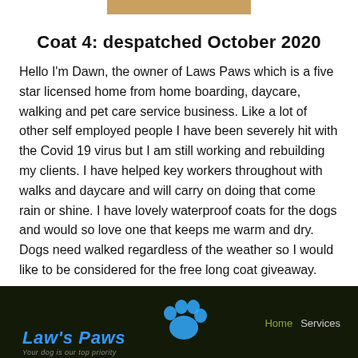Coat 4: despatched October 2020
Hello I'm Dawn, the owner of Laws Paws which is a five star licensed home from home boarding, daycare, walking and pet care service business. Like a lot of other self employed people I have been severely hit with the Covid 19 virus but I am still working and rebuilding my clients. I have helped key workers throughout with walks and daycare and will carry on doing that come rain or shine. I have lovely waterproof coats for the dogs and would so love one that keeps me warm and dry. Dogs need walked regardless of the weather so I would like to be considered for the free long coat giveaway.
[Figure (screenshot): Law's Paws website screenshot showing logo with blue paw print, cursive blue text 'Law's Paws', and navigation links 'Home' and 'Services' on dark background]